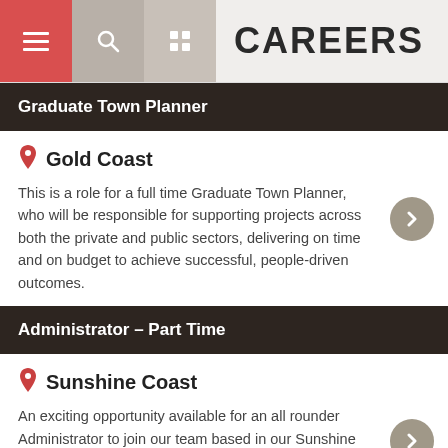CAREERS
Graduate Town Planner
Gold Coast
This is a role for a full time Graduate Town Planner, who will be responsible for supporting projects across both the private and public sectors, delivering on time and on budget to achieve successful, people-driven outcomes.
Administrator – Part Time
Sunshine Coast
An exciting opportunity available for an all rounder Administrator to join our team based in our Sunshine Coast Office. If you are keen and proactive, willing to learn and looking for a role to kick start your administration career